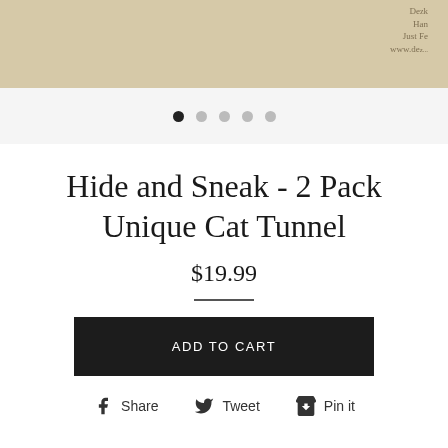[Figure (photo): Partial product photo showing tan/kraft paper background with a stamped logo in the upper right corner]
[Figure (other): Carousel navigation dots — 5 dots, first one filled black, rest gray]
Hide and Sneak - 2 Pack Unique Cat Tunnel
$19.99
ADD TO CART
Share  Tweet  Pin it